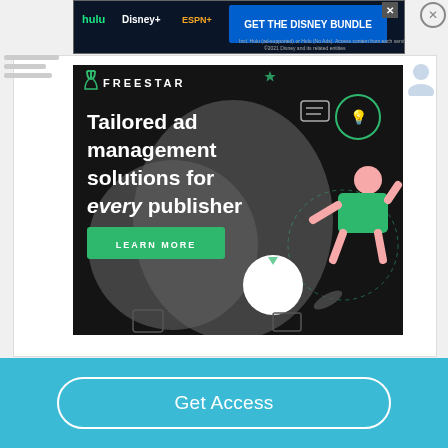[Figure (screenshot): Disney Bundle banner advertisement showing Hulu, Disney+, and ESPN+ logos with 'GET THE DISNEY BUNDLE' call to action]
[Figure (screenshot): Freestar ad: dark background with tagline 'Tailored ad management solutions for every publisher' and 'LEARN MORE' green button, with decorative illustration of person and UI elements]
Get Access